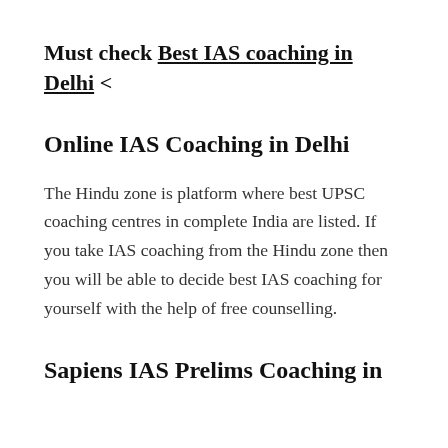Must check Best IAS coaching in Delhi <
Online IAS Coaching in Delhi
The Hindu zone is platform where best UPSC coaching centres in complete India are listed. If you take IAS coaching from the Hindu zone then you will be able to decide best IAS coaching for yourself with the help of free counselling.
Sapiens IAS Prelims Coaching in